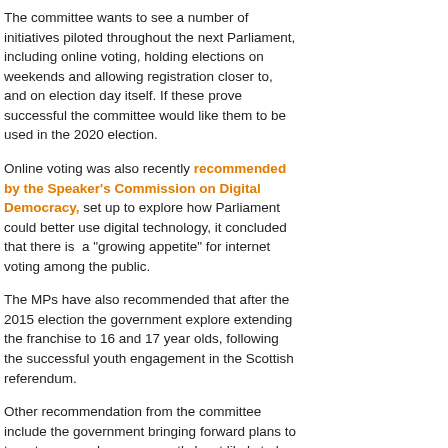The committee wants to see a number of initiatives piloted throughout the next Parliament, including online voting, holding elections on weekends and allowing registration closer to, and on election day itself. If these prove successful the committee would like them to be used in the 2020 election.
Online voting was also recently recommended by the Speaker's Commission on Digital Democracy, set up to explore how Parliament could better use digital technology, it concluded that there is a "growing appetite" for internet voting among the public.
The MPs have also recommended that after the 2015 election the government explore extending the franchise to 16 and 17 year olds, following the successful youth engagement in the Scottish referendum.
Other recommendation from the committee include the government bringing forward plans to target groups who are currently least likely to be registered to vote, including young people and those with disabilities.
The committee also recommends that the government consider making registration automatic – so people don't have to individually apply to register to vote – and put in place plans to prompt people to register to vote when they access other public services.